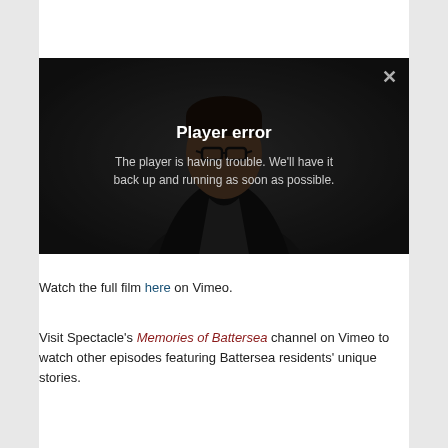[Figure (screenshot): Video player showing a person in dark clothing and glasses against a dark background. An error overlay reads 'Player error' and 'The player is having trouble. We'll have it back up and running as soon as possible.' with an X close button in the top right.]
Watch the full film here on Vimeo.
Visit Spectacle's Memories of Battersea channel on Vimeo to watch other episodes featuring Battersea residents' unique stories.